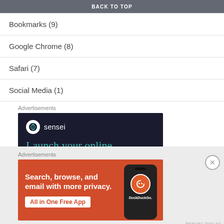BACK TO TOP
Bookmarks (9)
Google Chrome (8)
Safari (7)
Social Media (1)
Advertisements
[Figure (other): Sensei advertisement: dark navy background with Sensei logo (white circle with tree icon) and text 'Launch your online' in teal serif font]
Advertisements
[Figure (other): DuckDuckGo advertisement on orange background: 'Search, browse, and email with more privacy. All in One Free App' with DuckDuckGo logo on phone mockup]